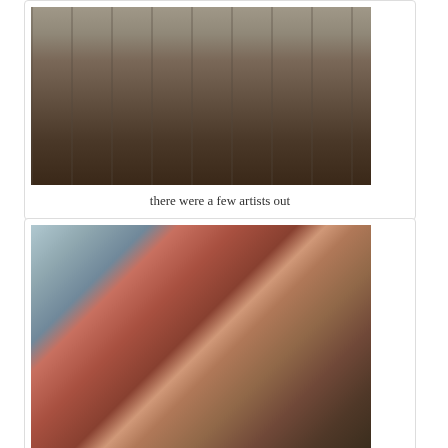[Figure (photo): Outdoor art market scene with paintings displayed on easels and boards, pedestrians browsing artwork in an open plaza]
there were a few artists out
[Figure (photo): Two women smiling together at an outdoor art market; one wearing a red hat and pink scarf with a brown jacket, the other in a black coat with a red scarf; watercolor paintings visible in the background]
my favorite watercolor artist, Marie Jolann. Laurie bought a picture from her.